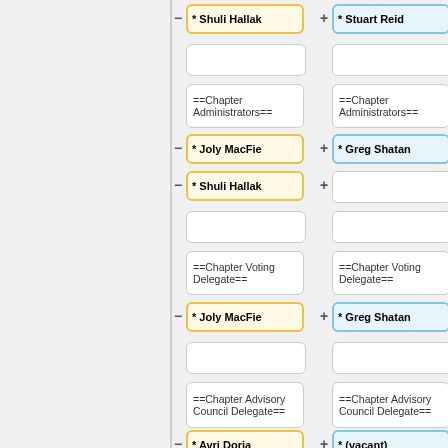[Figure (organizational-chart): A diff-style organizational chart showing two columns: left (removed, yellow highlighted) and right (added, blue highlighted). Shows roles including Chapter Administrators (Joly MacFie removed, Greg Shatan added; Shuli Hallak removed, vacant added), Chapter Voting Delegate (Joly MacFie removed, Greg Shatan added), Chapter Advisory Council Delegate (Avri Doria removed, vacant added), and Former Boards sections. Also shows Shuli Hallak removed and Stuart Reid added at the top.]